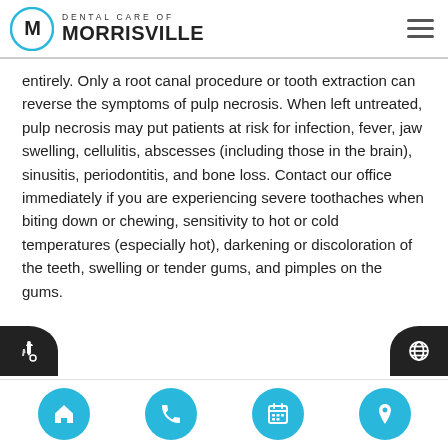DENTAL CARE OF MORRISVILLE
entirely. Only a root canal procedure or tooth extraction can reverse the symptoms of pulp necrosis. When left untreated, pulp necrosis may put patients at risk for infection, fever, jaw swelling, cellulitis, abscesses (including those in the brain), sinusitis, periodontitis, and bone loss. Contact our office immediately if you are experiencing severe toothaches when biting down or chewing, sensitivity to hot or cold temperatures (especially hot), darkening or discoloration of the teeth, swelling or tender gums, and pimples on the gums.
Navigation footer with home, phone, calendar, and location icons